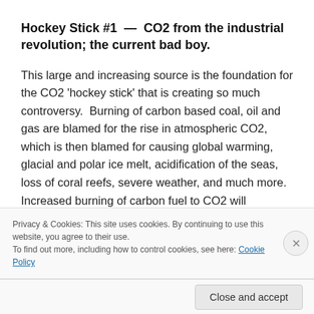Hockey Stick #1 — CO2 from the industrial revolution; the current bad boy.
This large and increasing source is the foundation for the CO2 'hockey stick' that is creating so much controversy.  Burning of carbon based coal, oil and gas are blamed for the rise in atmospheric CO2, which is then blamed for causing global warming, glacial and polar ice melt, acidification of the seas, loss of coral reefs, severe weather, and much more.  Increased burning of carbon fuel to CO2 will
Privacy & Cookies: This site uses cookies. By continuing to use this website, you agree to their use.
To find out more, including how to control cookies, see here: Cookie Policy